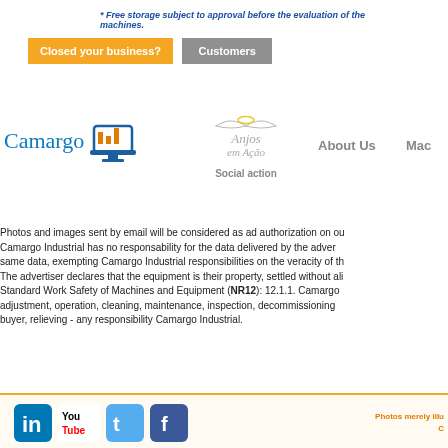* Free storage subject to approval before the evaluation of the machines.
Closed your business?
Customers
[Figure (logo): Camargo logo with icon of monitor and chart]
[Figure (logo): Anjos em Ação social action logo with angel wings]
About Us
Mac
Photos and images sent by email will be considered as ad authorization on our... Camargo Industrial has no responsability for the data delivered by the advert... same data, exempting Camargo Industrial responsibilities on the veracity of th... The advertiser declares that the equipment is their property, settled without ali... Standard Work Safety of Machines and Equipment (NR12): 12.1.1. Camargo... adjustment, operation, cleaning, maintenance, inspection, decommissioning... buyer, relieving - any responsibility Camargo Industrial.
[Figure (logo): Social media icons: LinkedIn, YouTube, Twitter, Facebook]
Photos merely illu... C...